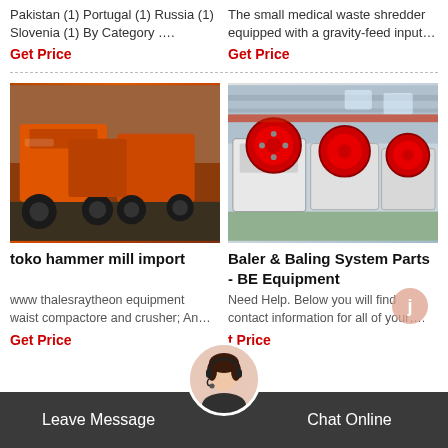Pakistan (1) Portugal (1) Russia (1) Slovenia (1) By Category ….
The small medical waste shredder equipped with a gravity-feed input…
Get Price
Get Price
[Figure (photo): Orange hammer mill machines in a factory warehouse]
[Figure (photo): Large jaw crusher machines with white frames and red flywheels in an industrial facility]
toko hammer mill import
Baler & Baling System Parts - BE Equipment
www thalesraytheon equipment waist compactore and crusher; An…
Need Help. Below you will find contact information for all of your…
Get Price
t Price
Leave Message   Chat Online